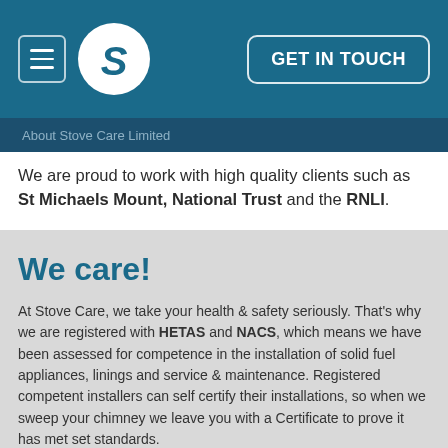GET IN TOUCH
About Stove Care Limited
We are proud to work with high quality clients such as St Michaels Mount, National Trust and the RNLI.
We care!
At Stove Care, we take your health & safety seriously. That's why we are registered with HETAS and NACS, which means we have been assessed for competence in the installation of solid fuel appliances, linings and service & maintenance. Registered competent installers can self certify their installations, so when we sweep your chimney we leave you with a Certificate to prove it has met set standards.